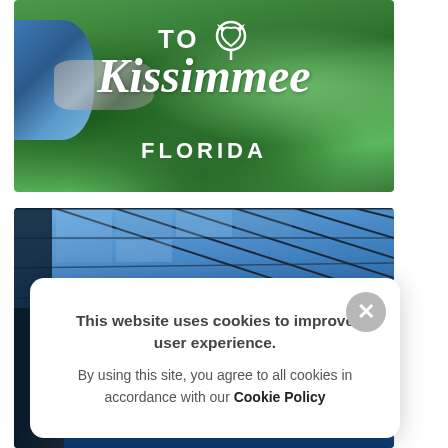[Figure (photo): Aerial photo of a golf course or park in Kissimmee, Florida, with green grass, a water/river feature, and rocks. White text overlay reads 'TO Kissimmee FLORIDA' with a map pin icon.]
[Figure (photo): Photo of a glass-roofed structure (conservatory or atrium) with a blue pool or water feature visible below, taken from a low angle looking up at the glass ceiling panels.]
This website uses cookies to improve user experience. By using this site, you agree to all cookies in accordance with our Cookie Policy